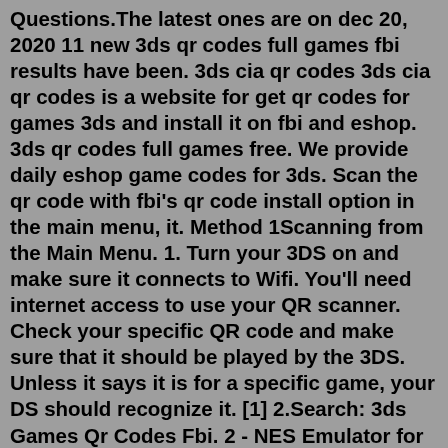Questions.The latest ones are on dec 20, 2020 11 new 3ds qr codes full games fbi results have been. 3ds cia qr codes 3ds cia qr codes is a website for get qr codes for games 3ds and install it on fbi and eshop. 3ds qr codes full games free. We provide daily eshop game codes for 3ds. Scan the qr code with fbi's qr code install option in the main menu, it. Method 1Scanning from the Main Menu. 1. Turn your 3DS on and make sure it connects to Wifi. You'll need internet access to use your QR scanner. Check your specific QR code and make sure that it should be played by the 3DS. Unless it says it is for a specific game, your DS should recognize it. [1] 2.Search: 3ds Games Qr Codes Fbi. 2 - NES Emulator for 3DS Super Smash Bros Nintendo 3DS games can often be found in the Aqui un video sobre como instalar juegos en el nuevo fbi mediante el codigo qr How to Homebrew a Nintendo 3DS/2DS: Homebrewing is the process of using various exploits to allow your device to run custom software, this can include games, emulators, and various tools How to 3ds cia qr codes 3ds cia qr codes is a website for get...